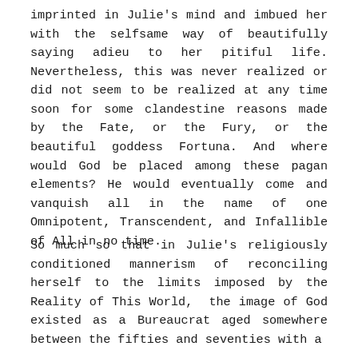imprinted in Julie's mind and imbued her with the selfsame way of beautifully saying adieu to her pitiful life. Nevertheless, this was never realized or did not seem to be realized at any time soon for some clandestine reasons made by the Fate, or the Fury, or the beautiful goddess Fortuna. And where would God be placed among these pagan elements? He would eventually come and vanquish all in the name of one Omnipotent, Transcendent, and Infallible of All in no time.
So much so that in Julie's religiously conditioned mannerism of reconciling herself to the limits imposed by the Reality of This World, the image of God existed as a Bureaucrat aged somewhere between the fifties and seventies with a